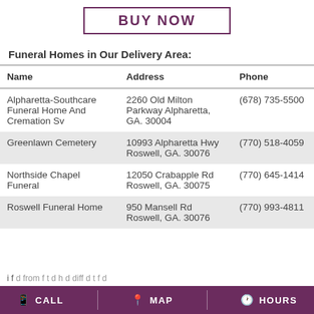[Figure (other): BUY NOW button with purple border]
Funeral Homes in Our Delivery Area:
| Name | Address | Phone |
| --- | --- | --- |
| Alpharetta-Southcare Funeral Home And Cremation Sv | 2260 Old Milton Parkway Alpharetta, GA. 30004 | (678) 735-5500 |
| Greenlawn Cemetery | 10993 Alpharetta Hwy Roswell, GA. 30076 | (770) 518-4059 |
| Northside Chapel Funeral | 12050 Crabapple Rd Roswell, GA. 30075 | (770) 645-1414 |
| Roswell Funeral Home | 950 Mansell Rd Roswell, GA. 30076 | (770) 993-4811 |
CALL   MAP   HOURS